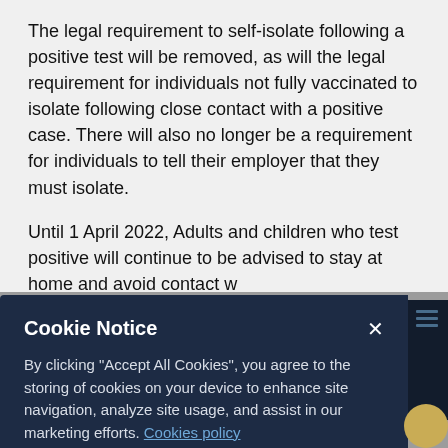The legal requirement to self-isolate following a positive test will be removed, as will the legal requirement for individuals not fully vaccinated to isolate following close contact with a positive case. There will also no longer be a requirement for individuals to tell their employer that they must isolate.
Until 1 April 2022, Adults and children who test positive will continue to be advised to stay at home and avoid contact w…
[Figure (screenshot): Cookie Notice modal dialog overlaying the document. Contains title 'Cookie Notice', close button (×), body text explaining cookie usage with a 'Cookies policy' link, an 'Accept Cookies' button, and a 'Cookies Settings' link. Background is dark navy (#1d2b44). A sidebar icon strip is visible to the right showing three horizontal lines in blue.]